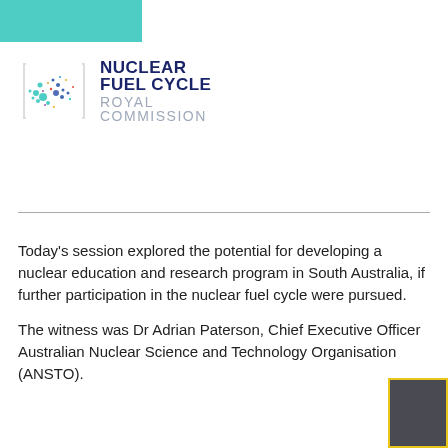[Figure (logo): Nuclear Fuel Cycle Royal Commission logo with dot-map of Australia and bold text]
Today's session explored the potential for developing a nuclear education and research program in South Australia, if further participation in the nuclear fuel cycle were pursued.
The witness was Dr Adrian Paterson, Chief Executive Officer Australian Nuclear Science and Technology Organisation (ANSTO).